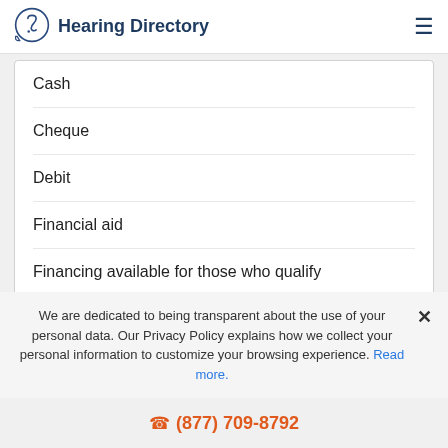Hearing Directory
Cash
Cheque
Debit
Financial aid
Financing available for those who qualify
Insurance accepted, please call for details
We are dedicated to being transparent about the use of your personal data. Our Privacy Policy explains how we collect your personal information to customize your browsing experience. Read more.
(877) 709-8792